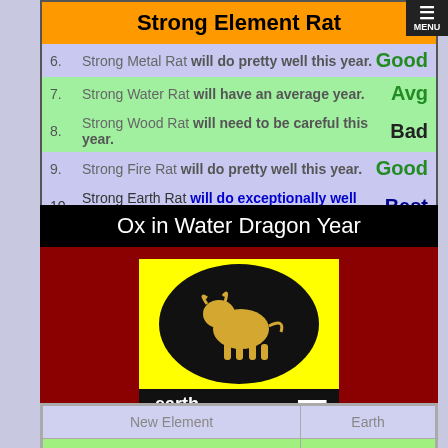Strong Element Rat
6. Strong Metal Rat will do pretty well this year. Good
7. Strong Water Rat will have an average year. Avg
8. Strong Wood Rat will need to be careful this year. Bad
9. Strong Fire Rat will do pretty well this year. Good
10. Strong Earth Rat will do exceptionally well this year. Best
Ox in Water Dragon Year
[Figure (illustration): Illustration of an ox/bull on a yellow background with black oval, labeled '-earth ox' with Chinese character]
Bad
| New Element | Earth |
| --- | --- |